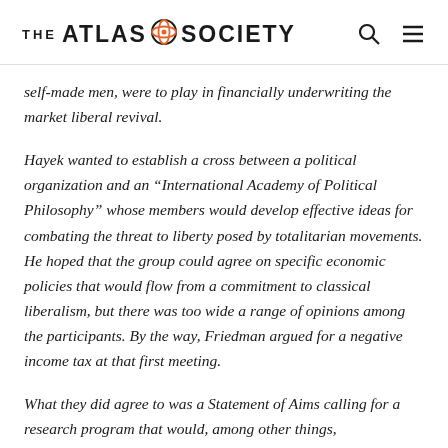THE ATLAS SOCIETY
self-made men, were to play in financially underwriting the market liberal revival.
Hayek wanted to establish a cross between a political organization and an “International Academy of Political Philosophy” whose members would develop effective ideas for combating the threat to liberty posed by totalitarian movements. He hoped that the group could agree on specific economic policies that would flow from a commitment to classical liberalism, but there was too wide a range of opinions among the participants. By the way, Friedman argued for a negative income tax at that first meeting.
What they did agree to was a Statement of Aims calling for a research program that would, among other things,